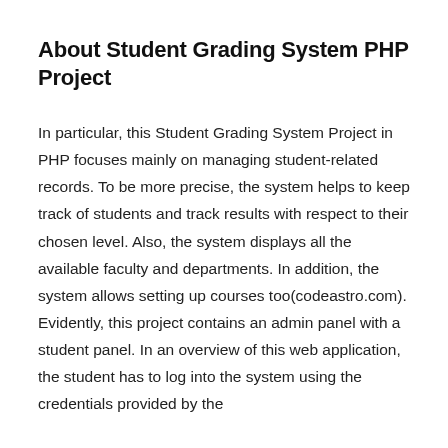About Student Grading System PHP Project
In particular, this Student Grading System Project in PHP focuses mainly on managing student-related records. To be more precise, the system helps to keep track of students and track results with respect to their chosen level. Also, the system displays all the available faculty and departments. In addition, the system allows setting up courses too(codeastro.com). Evidently, this project contains an admin panel with a student panel. In an overview of this web application, the student has to log into the system using the credentials provided by the